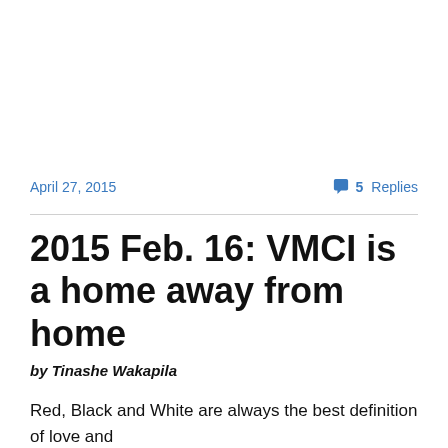April 27, 2015
5 Replies
2015 Feb. 16: VMCI is a home away from home
by Tinashe Wakapila
Red, Black and White are always the best definition of love and